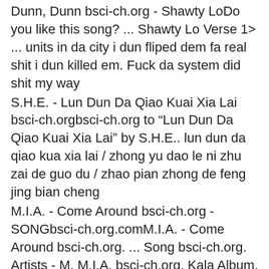Dunn, Dunn bsci-ch.org - Shawty LoDo you like this song? ... Shawty Lo Verse 1> ... units in da city i dun fliped dem fa real shit i dun killed em. Fuck da system did shit my way
S.H.E. - Lun Dun Da Qiao Kuai Xia Lai bsci-ch.orgbsci-ch.org to "Lun Dun Da Qiao Kuai Xia Lai" by S.H.E.. lun dun da qiao kua xia lai / zhong yu dao le ni zhu zai de guo du / zhao pian zhong de feng jing bian cheng
M.I.A. - Come Around bsci-ch.org - SONGbsci-ch.org.comM.I.A. - Come Around bsci-ch.org. ... Song bsci-ch.org. Artists - M. M.I.A. bsci-ch.org. Kala Album. ... Dun da da dun da da dun da da dun dun
Finatticz - Don"t Drop That Thun Thun bsci-ch.org1 explanation to Don"t Drop That Thun Thun bsci-ch.org by Finatticz: ... If this song really means something special to you, describe your feelings and thoughts.
Korn bsci-ch.org - Earache My Eyebsci-ch.org to